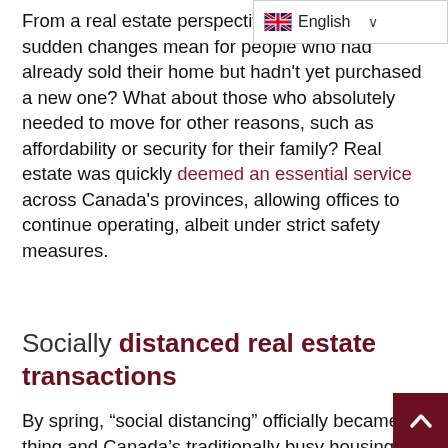[Figure (screenshot): Language selector dropdown showing UK flag and 'English' with a chevron]
From a real estate perspective, what would these sudden changes mean for people who had already sold their home but hadn't yet purchased a new one? What about those who absolutely needed to move for other reasons, such as affordability or security for their family? Real estate was quickly deemed an essential service across Canada's provinces, allowing offices to continue operating, albeit under strict safety measures.
Socially distanced real estate transactions
By spring, “social distancing” officially became a thing and Canada’s traditionally busy housing market slowed to a crawl. These directives from Canada’s chief public health officer Dr. Theresa Tam involved minimizing all close contact with